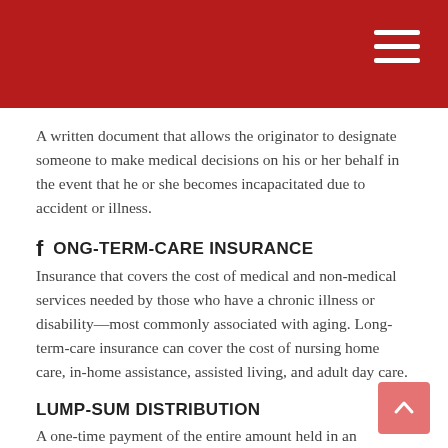A written document that allows the originator to designate someone to make medical decisions on his or her behalf in the event that he or she becomes incapacitated due to accident or illness.
LONG-TERM-CARE INSURANCE
Insurance that covers the cost of medical and non-medical services needed by those who have a chronic illness or disability—most commonly associated with aging. Long-term-care insurance can cover the cost of nursing home care, in-home assistance, assisted living, and adult day care.
LUMP-SUM DISTRIBUTION
A one-time payment of the entire amount held in an employer-sponsored retirement, pension plan, annuity,